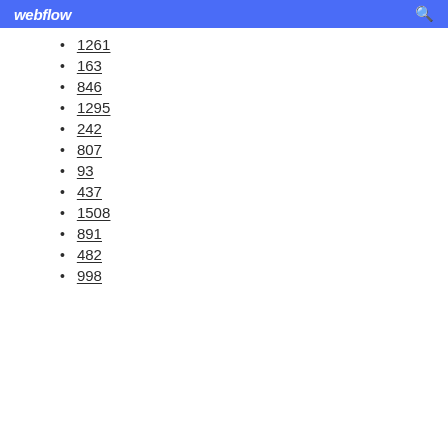webflow
1261
163
846
1295
242
807
93
437
1508
891
482
998